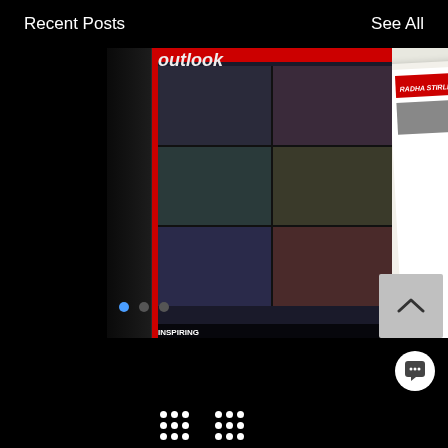Recent Posts   See All
[Figure (screenshot): Social media blog post card showing a composite image of magazine covers and newspaper articles featuring Radha Stirling, titled 'Inspiring Business Leaders 2021'. Below the image is the post title 'Radha Stirling - Inspiring Busines...' with a view count of 31, comment count of 0, and a heart/like icon.]
Radha Stirling - Inspiring Busines...
31
0